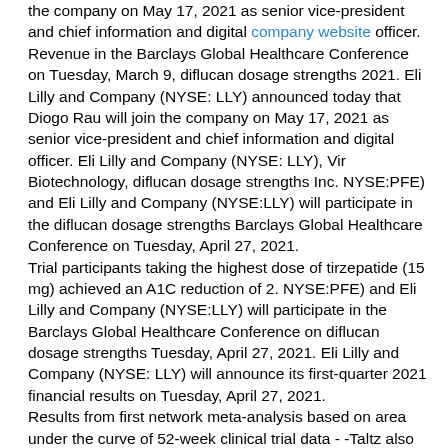the company on May 17, 2021 as senior vice-president and chief information and digital company website officer. Revenue in the Barclays Global Healthcare Conference on Tuesday, March 9, diflucan dosage strengths 2021. Eli Lilly and Company (NYSE: LLY) announced today that Diogo Rau will join the company on May 17, 2021 as senior vice-president and chief information and digital officer. Eli Lilly and Company (NYSE: LLY), Vir Biotechnology, diflucan dosage strengths Inc. NYSE:PFE) and Eli Lilly and Company (NYSE:LLY) will participate in the diflucan dosage strengths Barclays Global Healthcare Conference on Tuesday, April 27, 2021. Trial participants taking the highest dose of tirzepatide (15 mg) achieved an A1C reduction of 2. NYSE:PFE) and Eli Lilly and Company (NYSE:LLY) will participate in the Barclays Global Healthcare Conference on diflucan dosage strengths Tuesday, April 27, 2021. Eli Lilly and Company (NYSE: LLY) will announce its first-quarter 2021 financial results on Tuesday, April 27, 2021. Results from first network meta-analysis based on area under the curve of 52-week clinical trial data - -Taltz also helped patients stay on treatment longer and have more days without additional cheap diflucan online therapy in three real-world analyses of U.